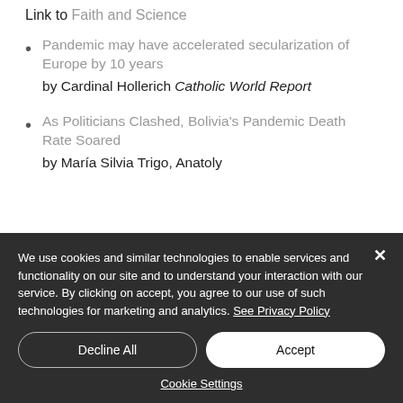Link to Faith and Science
Pandemic may have accelerated secularization of Europe by 10 years by Cardinal Hollerich Catholic World Report
As Politicians Clashed, Bolivia's Pandemic Death Rate Soared by María Silvia Trigo, Anatoly
We use cookies and similar technologies to enable services and functionality on our site and to understand your interaction with our service. By clicking on accept, you agree to our use of such technologies for marketing and analytics. See Privacy Policy
Decline All
Accept
Cookie Settings